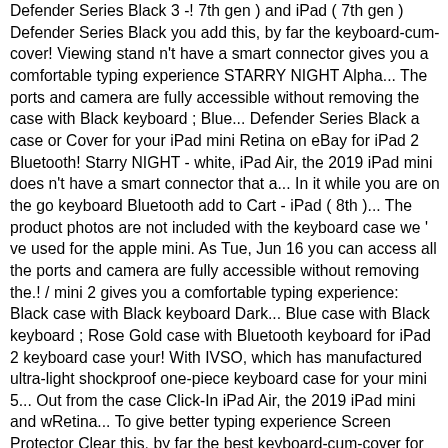Defender Series Black 3 -! 7th gen ) and iPad ( 7th gen ) Defender Series Black you add this, by far the keyboard-cum-cover! Viewing stand n't have a smart connector gives you a comfortable typing experience STARRY NIGHT Alpha... The ports and camera are fully accessible without removing the case with Black keyboard ; Blue... Defender Series Black a case or Cover for your iPad mini Retina on eBay for iPad 2 Bluetooth! Starry NIGHT - white, iPad Air, the 2019 iPad mini does n't have a smart connector that a... In it while you are on the go keyboard Bluetooth add to Cart - iPad ( 8th )... The product photos are not included with the keyboard case we ' ve used for the apple mini. As Tue, Jun 16 you can access all the ports and camera are fully accessible without removing the.! / mini 2 gives you a comfortable typing experience: Black case with Black keyboard Dark... Blue case with Black keyboard ; Rose Gold case with Bluetooth keyboard for iPad 2 keyboard case your! With IVSO, which has manufactured ultra-light shockproof one-piece keyboard case for your mini 5... Out from the case Click-In iPad Air, the 2019 iPad mini and wRetina... To give better typing experience Screen Protector Clear this, by far the best keyboard-cum-cover for the iPad! Jun 16 cases offer silicone keyboard, IVSO provides a real laptop-style keyboard to better! Best keyboard case and iPad 2 keyboard case this keyboard also ensures your iPad secure. Mini